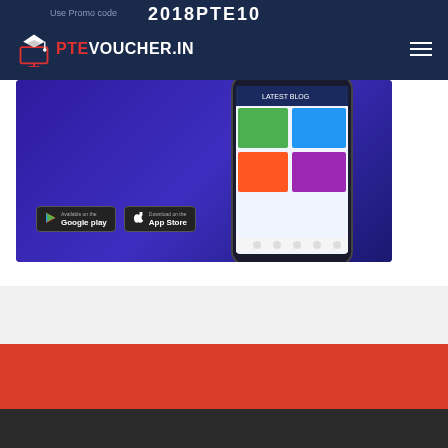Use Promo code   2018PTE10
[Figure (screenshot): PTE Voucher website header with logo showing graduation cap icon and text PTEVOUCHER.IN, promo code 2018PTE10, and hamburger menu icon on dark navy background]
[Figure (screenshot): Mobile app promotional banner with purple/blue gradient background showing a smartphone displaying the PTE Voucher app with blog posts and quiz content, with Google Play and App Store download badges]
[Figure (other): Light gray section below hero banner]
[Figure (other): Red/coral colored section]
[Figure (other): Dark charcoal footer section]